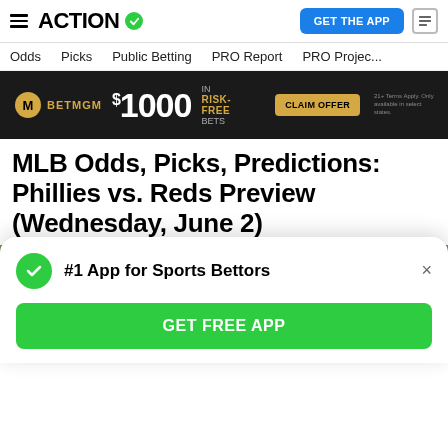ACTION — GET THE APP
Odds  Picks  Public Betting  PRO Report  PRO Projec...
[Figure (screenshot): BetMGM advertisement banner: $1000 IN RISK-FREE BETS — CLAIM OFFER]
MLB Odds, Picks, Predictions: Phillies vs. Reds Preview (Wednesday, June 2)
[Figure (photo): Philadelphia Phillies pitcher in maroon cap winding up to throw a pitch, green grass background]
#1 App for Sports Bettors
GET FREE APP